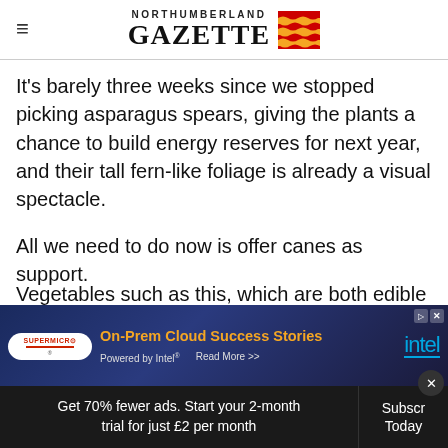NORTHUMBERLAND GAZETTE
It's barely three weeks since we stopped picking asparagus spears, giving the plants a chance to build energy reserves for next year, and their tall fern-like foliage is already a visual spectacle.
All we need to do now is offer canes as support.
Vegetables such as this, which are both edible and d...en.
[Figure (other): Supermicro and Intel advertisement banner: On-Prem Cloud Success Stories, Powered by Intel, Read More >>]
The globe artichoke, presently topped by lar...
Get 70% fewer ads. Start your 2-month trial for just £2 per month | Subscribe Today